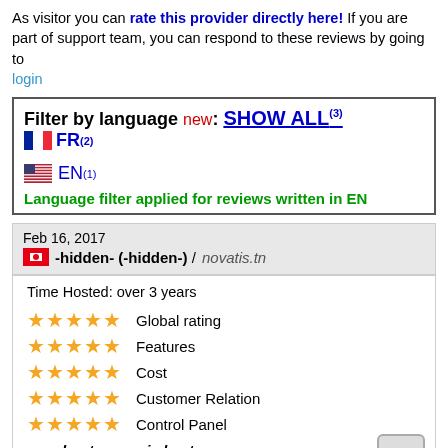As visitor you can rate this provider directly here! If you are part of support team, you can respond to these reviews by going to login
Filter by language new: SHOW ALL(3) FR(2) EN(1) Language filter applied for reviews written in EN
Feb 16, 2017
-hidden- (-hidden-) / novatis.tn
Time Hosted: over 3 years
Global rating Features Cost Customer Relation Control Panel
novahoster.com is best
I am blessed with having found the best Web Hosting company